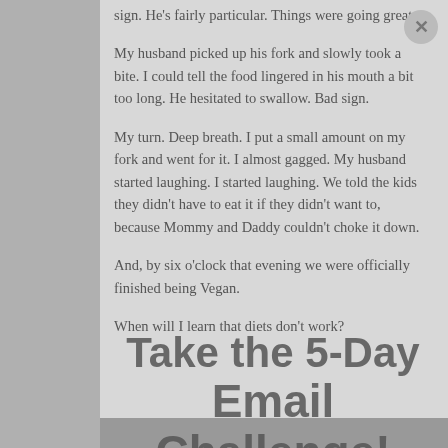sign. He's fairly particular. Things were going great.
My husband picked up his fork and slowly took a bite. I could tell the food lingered in his mouth a bit too long. He hesitated to swallow. Bad sign.
My turn. Deep breath. I put a small amount on my fork and went for it. I almost gagged. My husband started laughing. I started laughing. We told the kids they didn't have to eat it if they didn't want to, because Mommy and Daddy couldn't choke it down.
And, by six o'clock that evening we were officially finished being Vegan.
When will I learn that diets don't work?
[Figure (other): Overlay promotional text reading 'Take the 5-Day Email Challenge!' in bold dark gray letters overlaid on the article text]